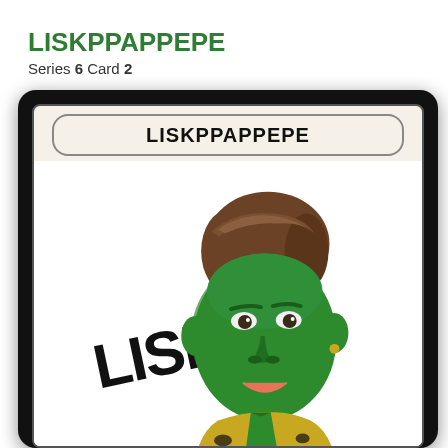LISKPPAPPEPE
Series 6 Card 2
[Figure (illustration): A trading card illustration showing a character with a green Pepe-the-frog-style face, brown hair, and a gold/black patterned jacket, with the word LISK written in bold diagonal text to the left of the figure. The card has a banner at the top reading LISKPPAPPEPE.]